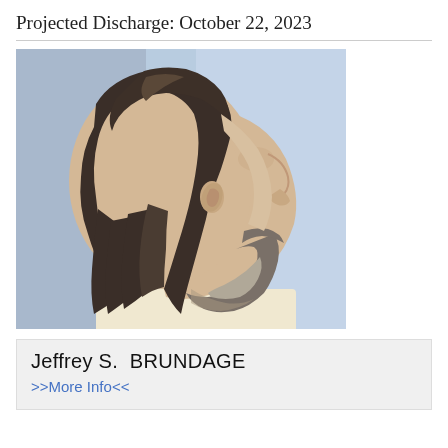Projected Discharge: October 22, 2023
[Figure (photo): Side profile mugshot photo of a middle-aged white male with long dark brown hair, beard with gray on chin, facing right, wearing a light-colored shirt, against a blue-gray background.]
Jeffrey S.  BRUNDAGE
>>More Info<<